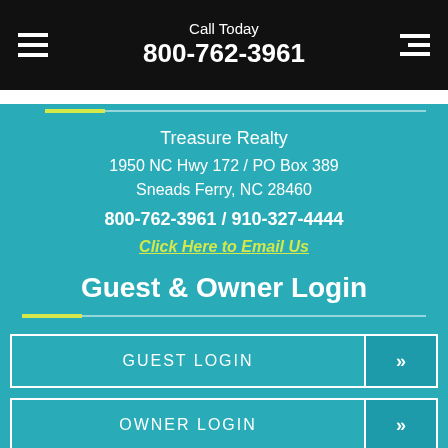Call Today 800-762-3961
Treasure Realty
1950 NC Hwy 172 / PO Box 389
Sneads Ferry, NC 28460
800-762-3961 / 910-327-4444
Click Here to Email Us
Guest & Owner Login
GUEST LOGIN >>
OWNER LOGIN >>